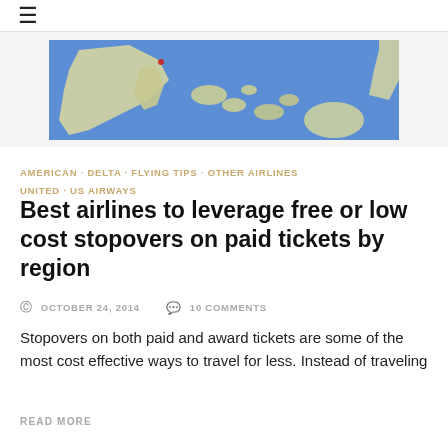≡
[Figure (map): Partial world map showing Asia-Pacific region with blue ocean and yellow-green landmasses, clipped at top and right edges]
AMERICAN · DELTA · FLYING TIPS · OTHER AIRLINES · UNITED · US AIRWAYS
Best airlines to leverage free or low cost stopovers on paid tickets by region
OCTOBER 24, 2014   10 COMMENTS
Stopovers on both paid and award tickets are some of the most cost effective ways to travel for less. Instead of traveling
READ MORE